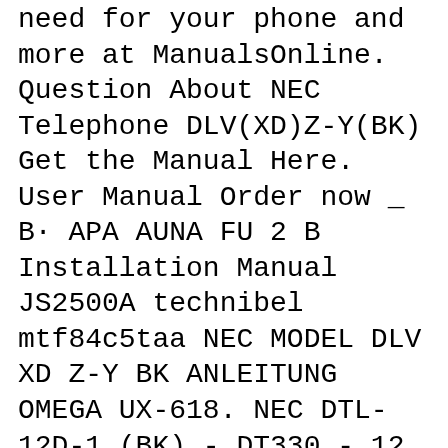need for your phone and more at ManualsOnline. Question About NEC Telephone DLV(XD)Z-Y(BK) Get the Manual Here. User Manual Order now _ B· APA AUNA FU 2 B Installation Manual JS2500A technibel mtf84c5taa NEC MODEL DLV XD Z-Y BK ANLEITUNG OMEGA UX-618. NEC DTL-12D-1 (BK) - DT330 - 12 Button Display Digital Phone Black Stock# 680002 by NEC $168.95 The VoIP Lounge Replacement 12 Foot Handset Receiver Cord for NEC Univerge DT300 DTL Series Phone 2E 6DE 12D 24D 32D 8LD
NEC UNIVERGE SV8300 Complete Phone System (CHS1U-AC). System has been maintained by NEC. System has been